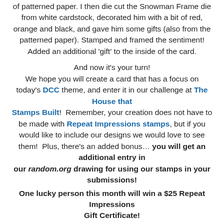of patterned paper. I then die cut the Snowman Frame die from white cardstock, decorated him with a bit of red, orange and black, and gave him some gifts (also from the patterned paper). Stamped and framed the sentiment! Added an additional 'gift' to the inside of the card.
And now it's your turn!
We hope you will create a card that has a focus on today's DCC theme, and enter it in our challenge at The House that Stamps Built!  Remember, your creation does not have to be made with Repeat Impressions stamps, but if you would like to include our designs we would love to see them!  Plus, there's an added bonus… you will get an additional entry in our random.org drawing for using our stamps in your submissions!
One lucky person this month will win a $25 Repeat Impressions Gift Certificate!
Check out my sidebar - grab the code to save money on your RI orders!
AND...last but not least ...